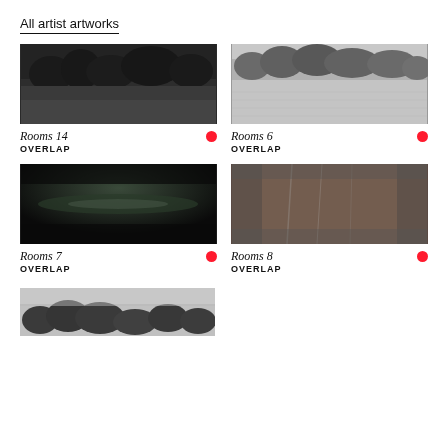All artist artworks
[Figure (photo): Dark monochrome landscape with trees, Rooms 14]
Rooms 14
OVERLAP
[Figure (photo): Monochrome landscape with treeline and water, Rooms 6]
Rooms 6
OVERLAP
[Figure (photo): Dark abstract hourglass shape, Rooms 7]
Rooms 7
OVERLAP
[Figure (photo): Dark brownish textured abstract, Rooms 8]
Rooms 8
OVERLAP
[Figure (photo): Partial grayscale landscape with dark treeline at bottom]